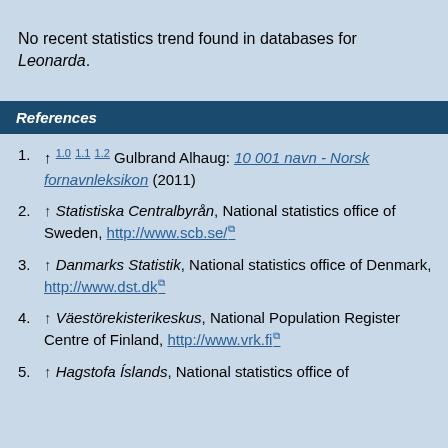No recent statistics trend found in databases for Leonarda.
References
1. ↑ 1.0 1.1 1.2 Gulbrand Alhaug: 10 001 navn - Norsk fornavnleksikon (2011)
2. ↑ Statistiska Centralbyrån, National statistics office of Sweden, http://www.scb.se/
3. ↑ Danmarks Statistik, National statistics office of Denmark, http://www.dst.dk
4. ↑ Väestörekisterikeskus, National Population Register Centre of Finland, http://www.vrk.fi
5. ↑ Hagstofa Íslands, National statistics office of